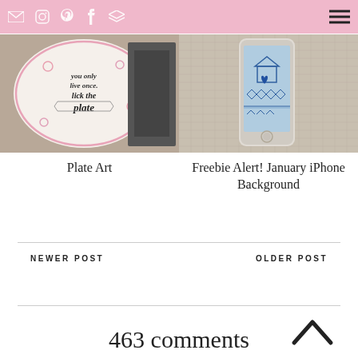Nav bar with email, instagram, pinterest, facebook, layers icons and hamburger menu
[Figure (photo): Plate with hand-lettered text 'you only live once, lick the plate' with pink decorative illustrations on a white plate]
Plate Art
[Figure (photo): iPhone lying on textured fabric background displaying a blue illustrated January wallpaper/background with geometric and house patterns]
Freebie Alert! January iPhone Background
NEWER POST
OLDER POST
463 comments